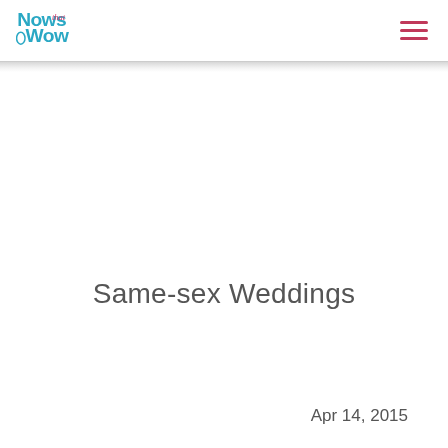Vows that Wow
Same-sex Weddings
Back to My Blog
Apr 14, 2015